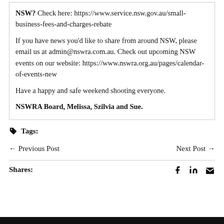NSW? Check here: https://www.service.nsw.gov.au/small-business-fees-and-charges-rebate
If you have news you'd like to share from around NSW, please email us at admin@nswra.com.au. Check out upcoming NSW events on our website: https://www.nswra.org.au/pages/calendar-of-events-new
Have a happy and safe weekend shooting everyone.
NSWRA Board, Melissa, Szilvia and Sue.
Tags:
← Previous Post
Next Post →
Shares: